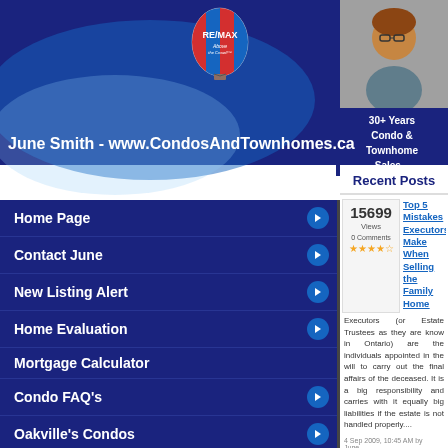[Figure (logo): RE/MAX Above the Crowd hot air balloon logo]
[Figure (photo): Headshot of agent June Smith]
June Smith - www.CondosAndTownhomes.ca  30+ Years Condo & Townhome Sales
Home Page
Contact June
New Listing Alert
Home Evaluation
Mortgage Calculator
Condo FAQ's
Oakville's Condos
For Buyers
For Sellers
House and Home
Recent Posts
15699 Views  0 Comments  ★★★★☆
Top 5 Mistakes Executors Make When Selling the Family Home
Executors (or Estate Trustees as they are know in Ontario) are the individuals appointed in the will to carry out the final affairs of the deceased. It is a big responsibility and carries with it equally big liabilities if the estate is not handled properly....